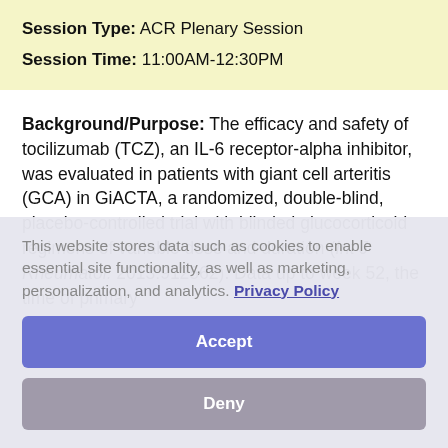Session Type: ACR Plenary Session
Session Time: 11:00AM-12:30PM
Background/Purpose: The efficacy and safety of tocilizumab (TCZ), an IL-6 receptor-alpha inhibitor, was evaluated in patients with giant cell arteritis (GCA) in GiACTA, a randomized, double-blind, placebo-controlled trial with blinded glucocorticoid regimens of variable dose and duration (Int J Rheumatol. 2013:912562). Data up to week 52, the time of primary
This website stores data such as cookies to enable essential site functionality, as well as marketing, personalization, and analytics. Privacy Policy
Accept
Deny